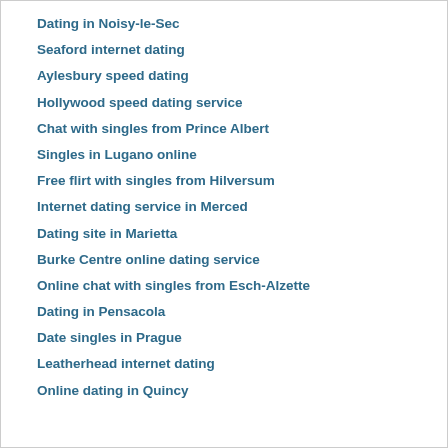Dating in Noisy-le-Sec
Seaford internet dating
Aylesbury speed dating
Hollywood speed dating service
Chat with singles from Prince Albert
Singles in Lugano online
Free flirt with singles from Hilversum
Internet dating service in Merced
Dating site in Marietta
Burke Centre online dating service
Online chat with singles from Esch-Alzette
Dating in Pensacola
Date singles in Prague
Leatherhead internet dating
Online dating in Quincy